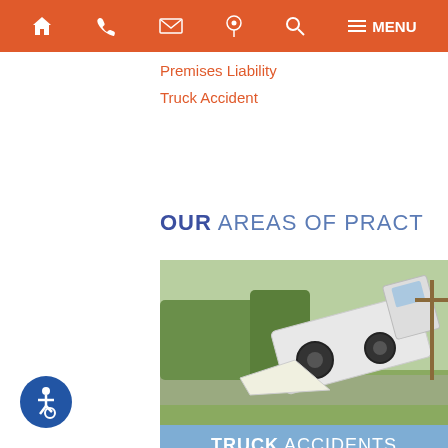Navigation bar with home, phone, email, location, search, menu icons and MENU label
Premises Liability
Truck Accident
OUR AREAS OF PRACT
[Figure (photo): Overturned white truck on roadside with debris and trees in background]
TRUCK ACCIDENTS
[Figure (photo): Crashed black motorcycle on road with traffic cones and bystanders]
[Figure (illustration): Accessibility wheelchair symbol button in blue circle]